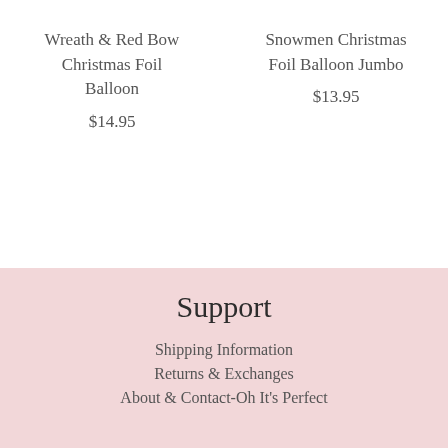Wreath & Red Bow Christmas Foil Balloon
$14.95
Snowmen Christmas Foil Balloon Jumbo
$13.95
Support
Shipping Information
Returns & Exchanges
About & Contact-Oh It's Perfect